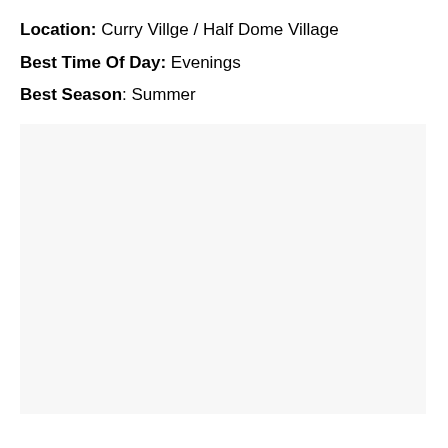Location: Curry Villge / Half Dome Village
Best Time Of Day: Evenings
Best Season: Summer
[Figure (photo): Large light gray placeholder image area]